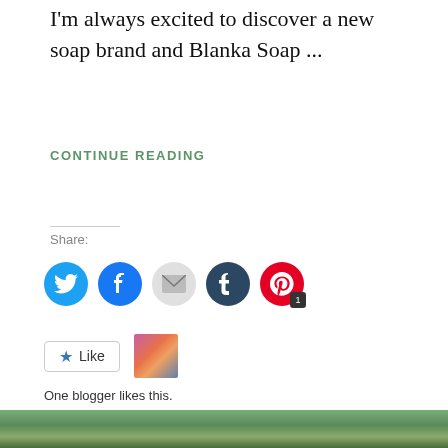I'm always excited to discover a new soap brand and Blanka Soap ...
CONTINUE READING
Share:
[Figure (infographic): Social sharing icons: Twitter (blue), Facebook (blue), Email (grey), Tumblr (dark navy), Pinterest (red) with badge showing '1']
[Figure (infographic): Like button with star icon and a blogger avatar thumbnail]
One blogger likes this.
Privacy & Cookies: This site uses cookies. By continuing to use this website, you agree to their use. To find out more, including how to control cookies, see here: Cookie Policy
Close and accept